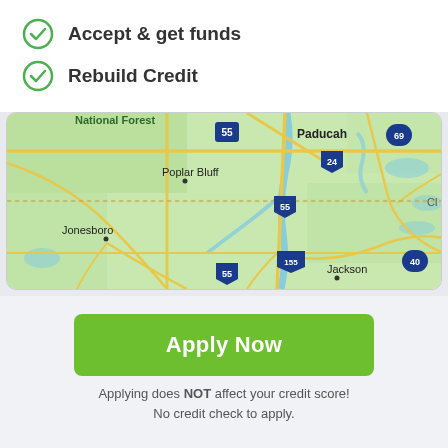Accept & get funds
Rebuild Credit
[Figure (map): Road map showing areas including National Forest, Paducah, Poplar Bluff, Jonesboro, Jackson, and highway markers 55, 24, 155, 40, 69]
Apply Now
Applying does NOT affect your credit score! No credit check to apply.